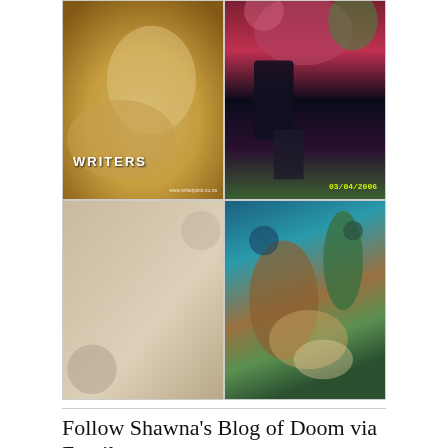[Figure (photo): Top-left image: classical painting of a reclining woman in golden robes with the word WRITERS overlaid in white text, and a small watermark at the bottom right.]
[Figure (photo): Top-right image: photograph of a person in a wheelchair wearing platform boots next to flowering plants, with date stamp 03/04/2006 in yellow.]
[Figure (screenshot): Bottom-left image: a tweet screenshot from user Icona (@iconawrites) with a leaf emoji, reading: 'One of the hardest decisions in a woman's life is whether she wants to spend her final years in a wooden hut with chicken legs, solving murders in the English countryside, or running a haunted Japanese bathhouse.' The tweet is overlaid on a textured background.]
[Figure (illustration): Bottom-right image: fantastical digital illustration of a woman with flowing hair underwater surrounded by tree roots and aquatic plants in teal and brown tones.]
Follow Shawna's Blog of Doom via Email
Enter your email address to follow this blog and receive notifications of new posts by email.